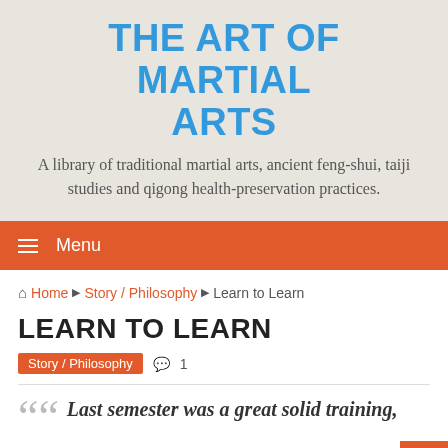THE ART OF MARTIAL ARTS
A library of traditional martial arts, ancient feng-shui, taiji studies and qigong health-preservation practices.
☰ Menu
🏠 Home ▶ Story / Philosophy ▶ Learn to Learn
LEARN TO LEARN
Story / Philosophy  💬 1
Last semester was a great solid training, all of the disciples in my Karate class at